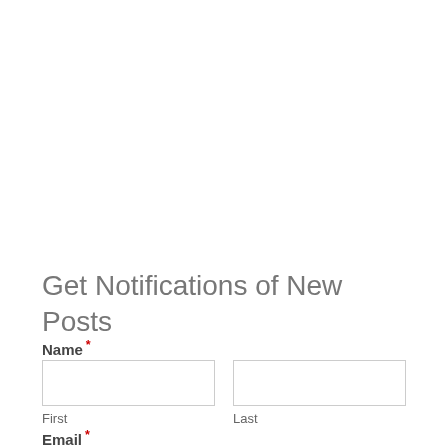Get Notifications of New Posts
Name *
First
Last
Email *